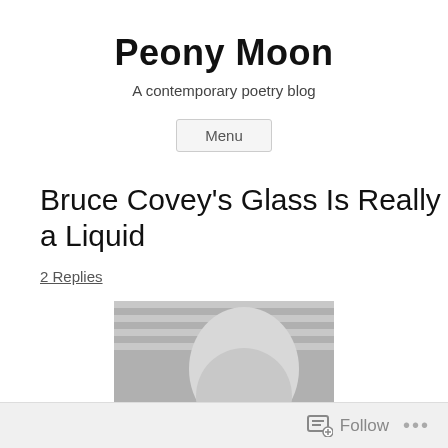Peony Moon
A contemporary poetry blog
Menu
Bruce Covey’s Glass Is Really a Liquid
2 Replies
[Figure (photo): Black and white photo of a bald man with glasses, cropped to show top half of face, against a striped background.]
Follow …